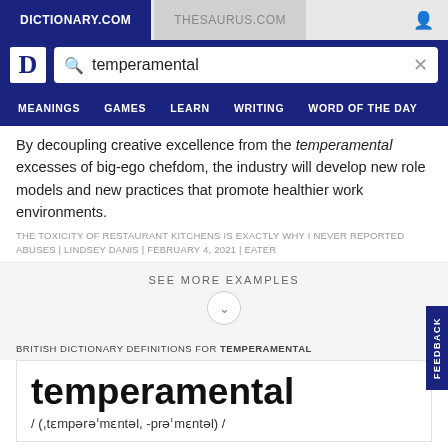DICTIONARY.COM | THESAURUS.COM
[Figure (screenshot): Dictionary.com search bar with search term 'temperamental' and navigation menu with MEANINGS, GAMES, LEARN, WRITING, WORD OF THE DAY]
By decoupling creative excellence from the temperamental excesses of big-ego chefdom, the industry will develop new role models and new practices that promote healthier work environments.
THE TOXICITY OF RESTAURANT KITCHENS IS EXACTLY WHY I NEVER REPORTED ABUSES | LINDSEY DANIS | FEBRUARY 4, 2021 | EATER
SEE MORE EXAMPLES
BRITISH DICTIONARY DEFINITIONS FOR TEMPERAMENTAL
temperamental
/ (ˌtɛmpərəˈmɛntəl, -prəˈmɛntəl) /